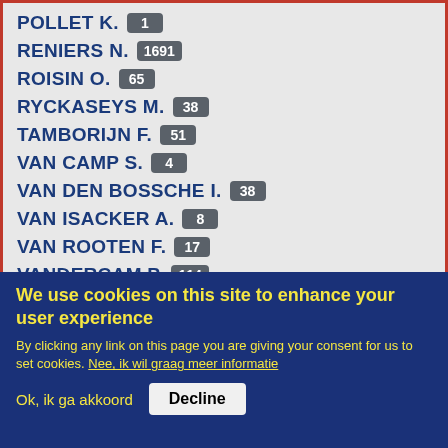POLLET K. 1
RENIERS N. 1691
ROISIN O. 65
RYCKASEYS M. 38
TAMBORIJN F. 51
VAN CAMP S. 4
VAN DEN BOSSCHE I. 38
VAN ISACKER A. 8
VAN ROOTEN F. 17
VANDERCAM P. 114
VERDICKT B. 191
VERHAERT C. 31
We use cookies on this site to enhance your user experience
By clicking any link on this page you are giving your consent for us to set cookies. Nee, ik wil graag meer informatie
Ok, ik ga akkoord   Decline